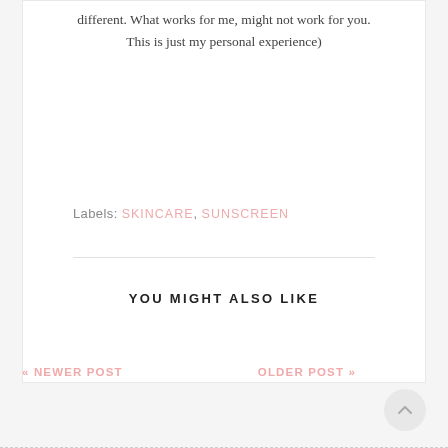different. What works for me, might not work for you. This is just my personal experience)
Labels: SKINCARE, SUNSCREEN
YOU MIGHT ALSO LIKE
« NEWER POST
OLDER POST »